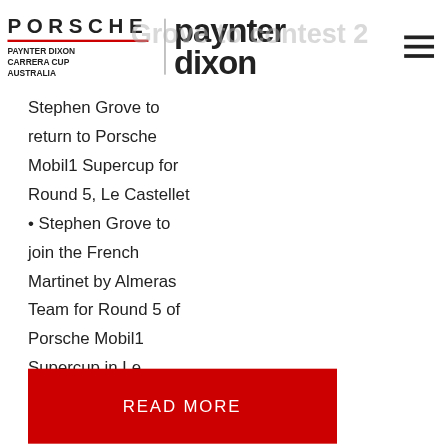PORSCHE | PAYNTER DIXON CARRERA CUP AUSTRALIA | paynter dixon
Stephen Grove to return to Porsche Mobil1 Supercup for Round 5, Le Castellet • Stephen Grove to join the French Martinet by Almeras Team for Round 5 of Porsche Mobil1 Supercup in Le Castellet, France • Australian father and son pairing to campaign Porsche 911 GT3 R in Total Energies 24 Hours of Spa alongside [...]
READ MORE
Porsche announces Esports Carrera Cup Australia competition for sim-racing community